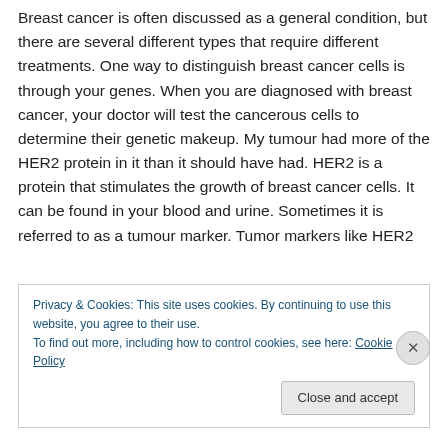Breast cancer is often discussed as a general condition, but there are several different types that require different treatments. One way to distinguish breast cancer cells is through your genes. When you are diagnosed with breast cancer, your doctor will test the cancerous cells to determine their genetic makeup. My tumour had more of the HER2 protein in it than it should have had. HER2 is a protein that stimulates the growth of breast cancer cells. It can be found in your blood and urine. Sometimes it is referred to as a tumour marker. Tumor markers like HER2
Privacy & Cookies: This site uses cookies. By continuing to use this website, you agree to their use.
To find out more, including how to control cookies, see here: Cookie Policy